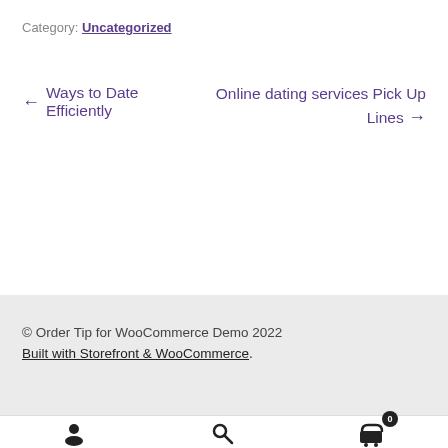Category: Uncategorized
← Ways to Date Efficiently
Online dating services Pick Up Lines →
© Order Tip for WooCommerce Demo 2022
Built with Storefront & WooCommerce.